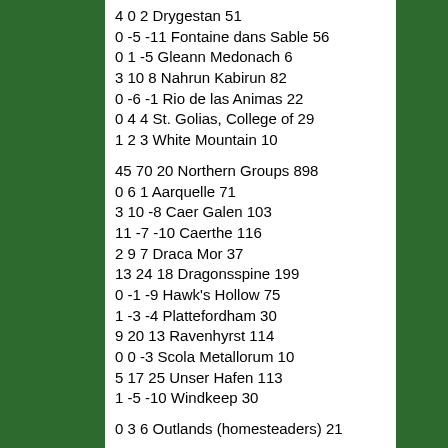4 0 2 Drygestan 51
0 -5 -11 Fontaine dans Sable 56
0 1 -5 Gleann Medonach 6
3 10 8 Nahrun Kabirun 82
0 -6 -1 Rio de las Animas 22
0 4 4 St. Golias, College of 29
1 2 3 White Mountain 10
45 70 20 Northern Groups 898
0 6 1 Aarquelle 71
3 10 -8 Caer Galen 103
11 -7 -10 Caerthe 116
2 9 7 Draca Mor 37
13 24 18 Dragonsspine 199
0 -1 -9 Hawk's Hollow 75
1 -3 -4 Plattefordham 30
9 20 13 Ravenhyrst 114
0 0 -3 Scola Metallorum 10
5 17 25 Unser Hafen 113
1 -5 -10 Windkeep 30
0 3 6 Outlands (homesteaders) 21
62 73 31 Outlands Total 1591